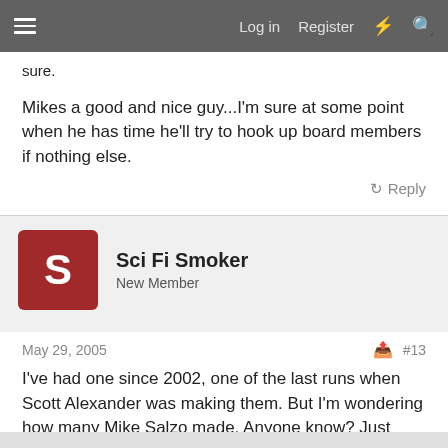Log in  Register
sure.
Mikes a good and nice guy...I'm sure at some point when he has time he'll try to hook up board members if nothing else.
Reply
Sci Fi Smoker
New Member
May 29, 2005  #13
I've had one since 2002, one of the last runs when Scott Alexander was making them. But I'm wondering how many Mike Salzo made. Anyone know? Just curious, since his production didn't seem to run too long.
Reply